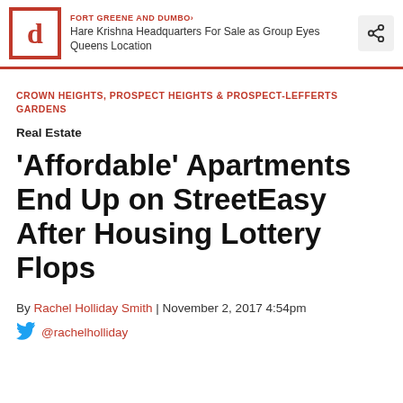FORT GREENE AND DUMBO › Hare Krishna Headquarters For Sale as Group Eyes Queens Location
CROWN HEIGHTS, PROSPECT HEIGHTS & PROSPECT-LEFFERTS GARDENS
Real Estate
'Affordable' Apartments End Up on StreetEasy After Housing Lottery Flops
By Rachel Holliday Smith | November 2, 2017 4:54pm
@rachelholliday